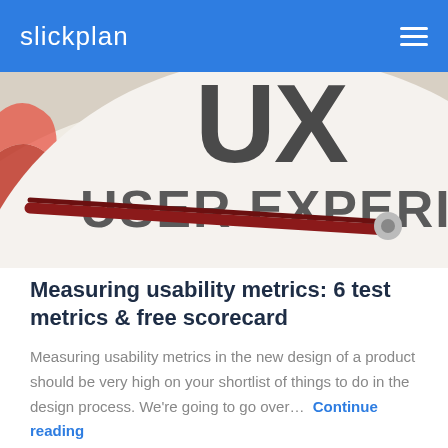slickplan
[Figure (photo): Close-up photo of a gauge/meter face showing the text 'UX USER EXPERIENCE' with a dark red needle pointing across the dial.]
Measuring usability metrics: 6 test metrics & free scorecard
Measuring usability metrics in the new design of a product should be very high on your shortlist of things to do in the design process. We're going to go over... Continue reading